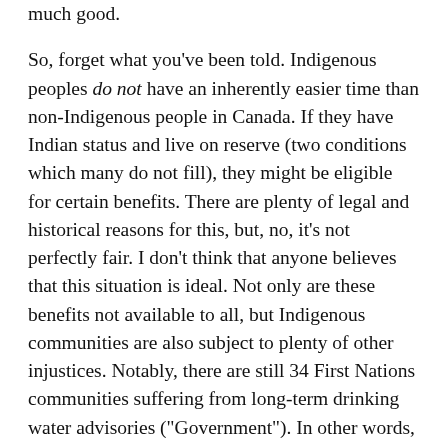much good.
So, forget what you've been told. Indigenous peoples do not have an inherently easier time than non-Indigenous people in Canada. If they have Indian status and live on reserve (two conditions which many do not fill), they might be eligible for certain benefits. There are plenty of legal and historical reasons for this, but, no, it's not perfectly fair. I don't think that anyone believes that this situation is ideal. Not only are these benefits not available to all, but Indigenous communities are also subject to plenty of other injustices. Notably, there are still 34 First Nations communities suffering from long-term drinking water advisories ("Government"). In other words, many Indigenous communities are denied access to their most basic human rights. If you think that Indigenous peoples benefit from extra privileges, you're probably overlooking a lot.